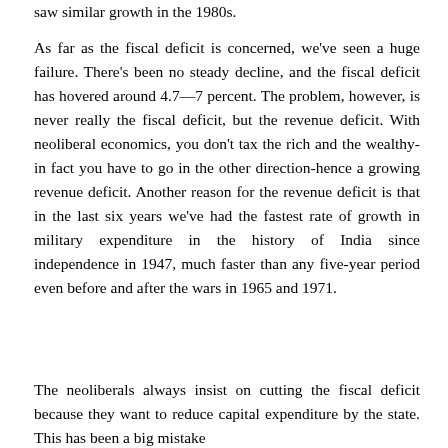saw similar growth in the 1980s.
As far as the fiscal deficit is concerned, we've seen a huge failure. There's been no steady decline, and the fiscal deficit has hovered around 4.7—7 percent. The problem, however, is never really the fiscal deficit, but the revenue deficit. With neoliberal economics, you don't tax the rich and the wealthy-in fact you have to go in the other direction-hence a growing revenue deficit. Another reason for the revenue deficit is that in the last six years we've had the fastest rate of growth in military expenditure in the history of India since independence in 1947, much faster than any five-year period even before and after the wars in 1965 and 1971.
The neoliberals always insist on cutting the fiscal deficit because they want to reduce capital expenditure by the state. This has been a big mistake